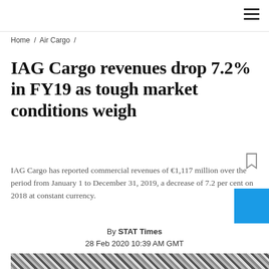Home / Air Cargo /
IAG Cargo revenues drop 7.2% in FY19 as tough market conditions weigh
IAG Cargo has reported commercial revenues of €1,117 million over the period from January 1 to December 31, 2019, a decrease of 7.2 per cent on 2018 at constant currency.
By STAT Times
28 Feb 2020 10:39 AM GMT
[Figure (photo): Partially visible photo at bottom of page showing cargo or aviation-related imagery with diagonal striped patterns]